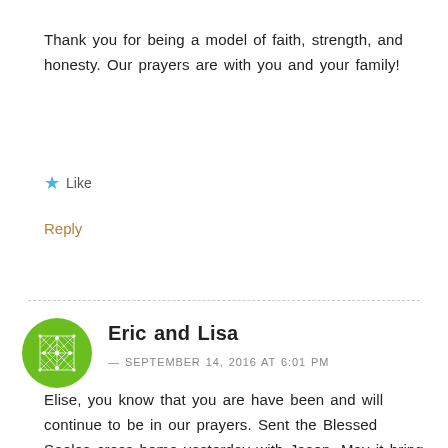Thank you for being a model of faith, strength, and honesty. Our prayers are with you and your family!
Like
Reply
Eric and Lisa
— SEPTEMBER 14, 2016 AT 6:01 PM
Elise, you know that you are have been and will continue to be in our prayers. Sent the Blessed Seelos cross home yesterday with Jason. May it bring you peace and healing.